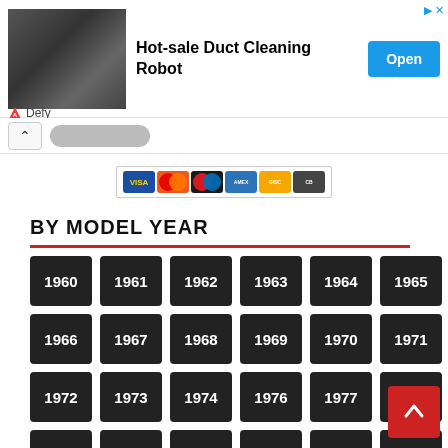[Figure (screenshot): Advertisement banner for 'Hot-sale Duct Cleaning Robot' with product photo on the left, bold title text in center, and a blue 'Open' button on the right. Defy logo at bottom left.]
[Figure (screenshot): Navigation row with back arrow button and blurred/redacted pill element]
[Figure (screenshot): Row of payment card logos: VISA, Mastercard, Maestro, American Express, Discover, and one more card]
BY MODEL YEAR
1960
1961
1962
1963
1964
1965
1966
1967
1968
1969
1970
1971
1972
1973
1974
1976
1977
1978
1979
1980
1981
1982
1983
1984
1985
1986
1987
1988
1989
1990